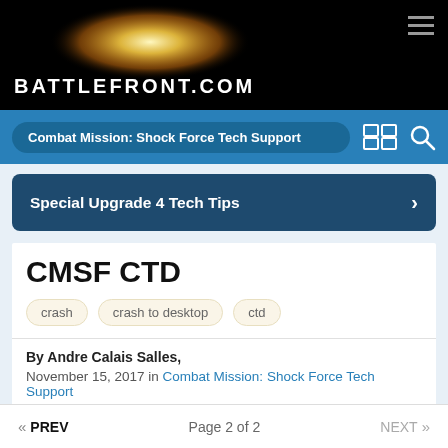BATTLEFRONT.COM
Combat Mission: Shock Force Tech Support
Special Upgrade 4 Tech Tips
CMSF CTD
crash
crash to desktop
ctd
By Andre Calais Salles,
November 15, 2017 in Combat Mission: Shock Force Tech Support
Reply to this topic
« PREV    Page 2 of 2    NEXT »